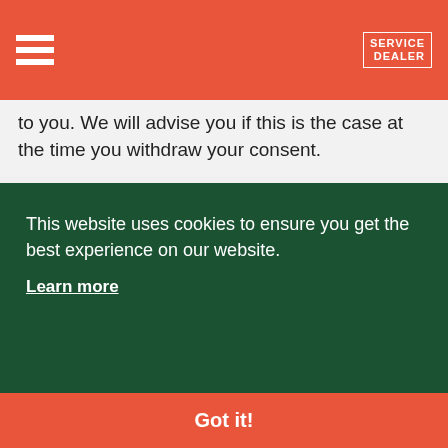SERVICE DEALER
to you. We will advise you if this is the case at the time you withdraw your consent.
[Figure (logo): TurfPro magazine cover with dark blue header showing TURFPRO logo and sky/clouds image below]
[Figure (logo): PARTNERS section header with AGCO Your Agriculture Company logo]
This website uses cookies to ensure you get the best experience on our website.
Learn more
Got it!